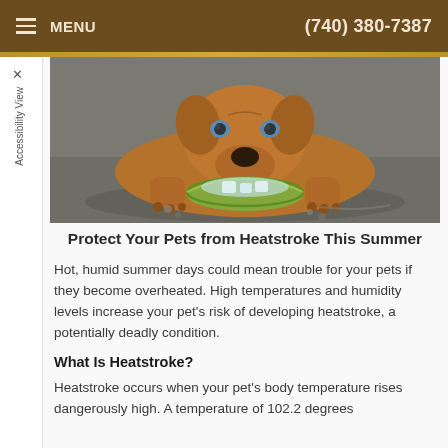MENU  (740) 380-7387
[Figure (photo): A brown dog lying on the ground resting its chin on a green glass bowl filled with ice and water]
Protect Your Pets from Heatstroke This Summer
Hot, humid summer days could mean trouble for your pets if they become overheated. High temperatures and humidity levels increase your pet's risk of developing heatstroke, a potentially deadly condition.
What Is Heatstroke?
Heatstroke occurs when your pet's body temperature rises dangerously high. A temperature of 102.2 degrees which can mean that your pet is suffering from...